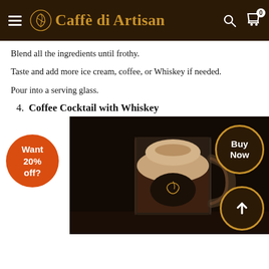Caffè di Artisan
Blend all the ingredients until frothy.
Taste and add more ice cream, coffee, or Whiskey if needed.
Pour into a serving glass.
4. Coffee Cocktail with Whiskey
[Figure (photo): A glass mug filled with a coffee cocktail drink layered with dark coffee at the bottom and a frothy cream top, dusted with cinnamon or chocolate powder. The mug features the Caffè di Artisan logo on a dark oval label. The background is dark/black.]
Want 20% off?
Buy Now